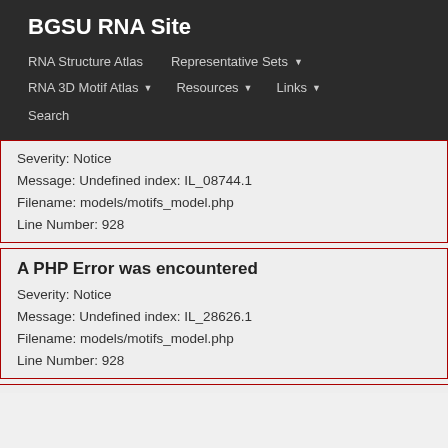BGSU RNA Site
RNA Structure Atlas | Representative Sets ▾ | RNA 3D Motif Atlas ▾ | Resources ▾ | Links ▾ | Search
Severity: Notice
Message: Undefined index: IL_08744.1
Filename: models/motifs_model.php
Line Number: 928
A PHP Error was encountered
Severity: Notice
Message: Undefined index: IL_28626.1
Filename: models/motifs_model.php
Line Number: 928